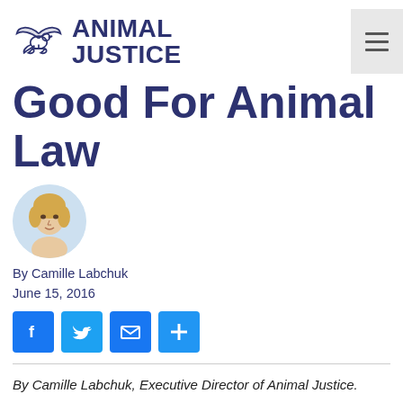[Figure (logo): Animal Justice logo with dove and scales, text ANIMAL JUSTICE]
Good For Animal Law
[Figure (photo): Circular headshot photo of Camille Labchuk, a blonde woman]
By Camille Labchuk
June 15, 2016
[Figure (infographic): Social share buttons: Facebook, Twitter, Email, Plus]
By Camille Labchuk, Executive Director of Animal Justice.